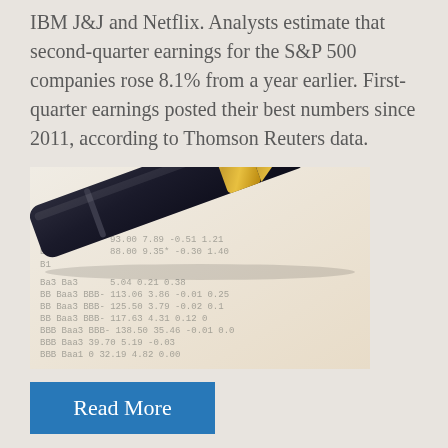IBM J&J and Netflix. Analysts estimate that second-quarter earnings for the S&P 500 companies rose 8.1% from a year earlier. First-quarter earnings posted their best numbers since 2011, according to Thomson Reuters data.
[Figure (photo): Close-up photo of a gold-tipped fountain pen resting on a financial document with printed numbers and bond ratings (Ba3, Baa3, BBB) visible in the background.]
Emerging market
Read More